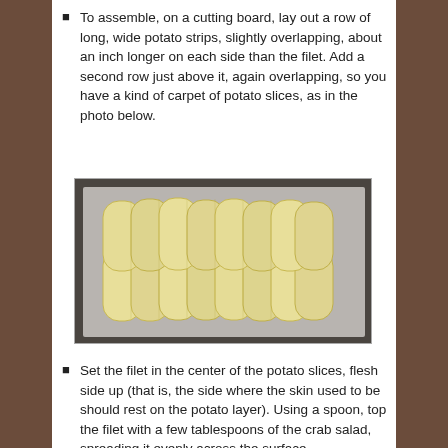To assemble, on a cutting board, lay out a row of long, wide potato strips, slightly overlapping, about an inch longer on each side than the filet. Add a second row just above it, again overlapping, so you have a kind of carpet of potato slices, as in the photo below.
[Figure (photo): A cutting board with overlapping wide potato slices arranged in two rows forming a rectangular carpet-like layer, on a dark surface.]
Set the filet in the center of the potato slices, flesh side up (that is, the side where the skin used to be should rest on the potato layer). Using a spoon, top the filet with a few tablespoons of the crab salad, spreading it evenly across the surface.